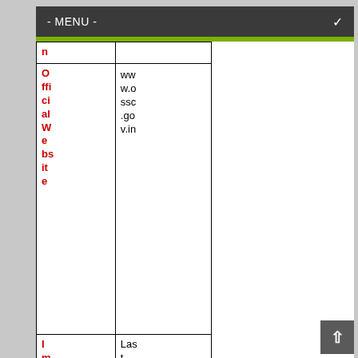- MENU -
| Official Website | www.ossc.gov.in |
| Important Dates | Last Date for Apply Online – 28 September 20... |